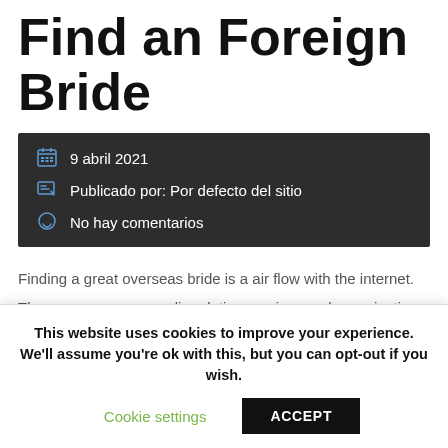Find an Foreign Bride
9 abril 2021
Publicado por: Por defecto del sitio
No hay comentarios
Finding a great overseas bride is a air flow with the internet.
There are numerous online dating services and organizations
This website uses cookies to improve your experience. We'll assume you're ok with this, but you can opt-out if you wish.
Cookie settings
ACCEPT